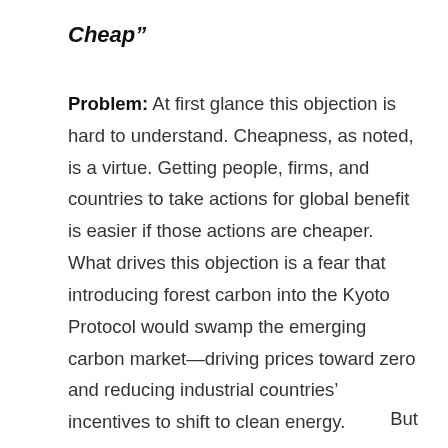Cheap”
Problem: At first glance this objection is hard to understand. Cheapness, as noted, is a virtue. Getting people, firms, and countries to take actions for global benefit is easier if those actions are cheaper. What drives this objection is a fear that introducing forest carbon into the Kyoto Protocol would swamp the emerging carbon market—driving prices toward zero and reducing industrial countries’ incentives to shift to clean energy.
But